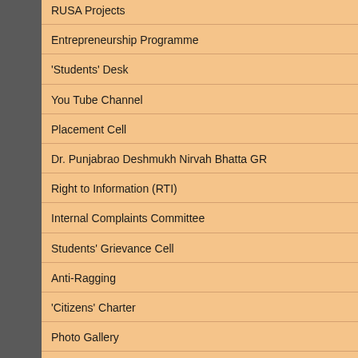RUSA Projects
Entrepreneurship Programme
'Students' Desk
You Tube Channel
Placement Cell
Dr. Punjabrao Deshmukh Nirvah Bhatta GR
Right to Information (RTI)
Internal Complaints Committee
Students' Grievance Cell
Anti-Ragging
'Citizens' Charter
Photo Gallery
Feedback
NIRF